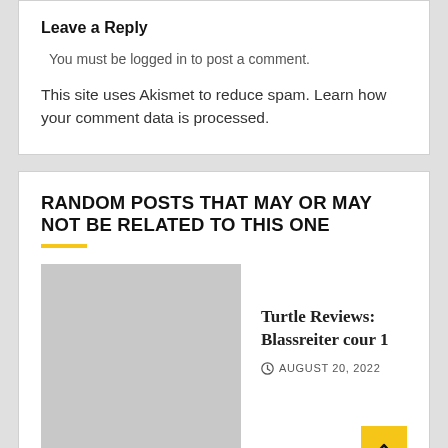Leave a Reply
You must be logged in to post a comment.
This site uses Akismet to reduce spam. Learn how your comment data is processed.
RANDOM POSTS THAT MAY OR MAY NOT BE RELATED TO THIS ONE
[Figure (photo): Thumbnail image placeholder (grey rectangle) for a blog post]
Turtle Reviews: Blassreiter cour 1
AUGUST 20, 2022
[Figure (photo): Partial thumbnail image at bottom of page]